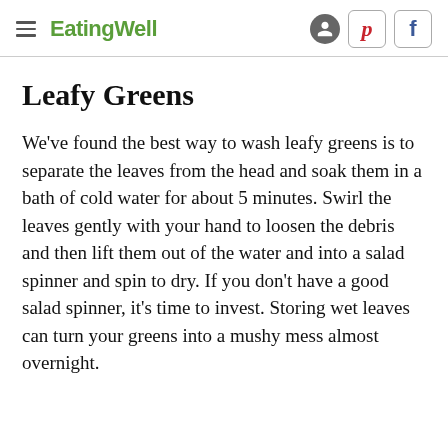EatingWell
Leafy Greens
We've found the best way to wash leafy greens is to separate the leaves from the head and soak them in a bath of cold water for about 5 minutes. Swirl the leaves gently with your hand to loosen the debris and then lift them out of the water and into a salad spinner and spin to dry. If you don't have a good salad spinner, it's time to invest. Storing wet leaves can turn your greens into a mushy mess almost overnight.